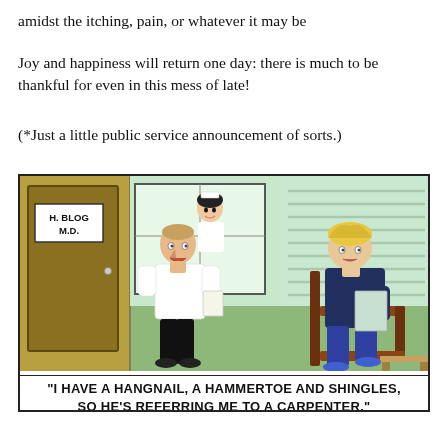amidst the itching, pain, or whatever it may be
Joy and happiness will return one day: there is much to be thankful for even in this mess of late!
(*Just a little public service announcement of sorts.)
[Figure (illustration): Comic strip showing a doctor's office scene. A doctor (labeled H. BLOG M.D. on the door) stands facing a patient seated in a chair holding papers. A nurse is visible through a window in the background.]
"I HAVE A HANGNAIL, A HAMMERTOE AND SHINGLES, SO HE'S REFERRING ME TO A CARPENTER."